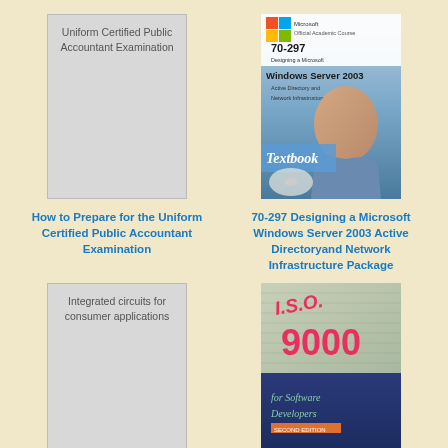[Figure (illustration): Placeholder book cover for 'How to Prepare for the Uniform Certified Public Accountant Examination' - light gray rectangle with title text]
[Figure (photo): Book cover for '70-297 Designing a Microsoft Windows Server 2003 Active Directory and Network Infrastructure' - Microsoft Official Academic Course textbook with a person's face]
How to Prepare for the Uniform Certified Public Accountant Examination
70-297 Designing a Microsoft Windows Server 2003 Active Directoryand Network Infrastructure Package
[Figure (illustration): Placeholder book cover for 'Integrated circuits for consumer applications' - light gray rectangle with title text]
[Figure (illustration): Book cover for 'ISO 9000 for Software Developers' - dark blue cover with colorful ISO 9000 text]